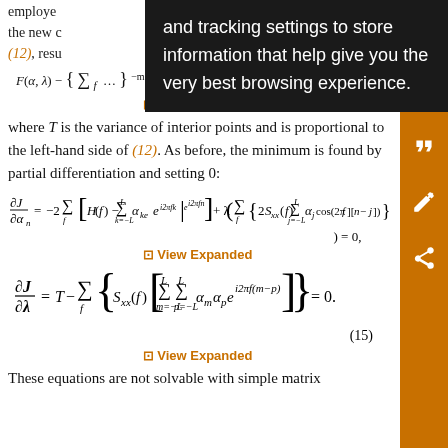employed ... and tracking settings to store information that help give you the very best browsing experience. ... the new c... in (12), resu...
View Expanded
where T is the variance of interior points and is proportional to the left-hand side of (12). As before, the minimum is found by partial differentiation and setting 0:
View Expanded
(15)
View Expanded
These equations are not solvable with simple matrix